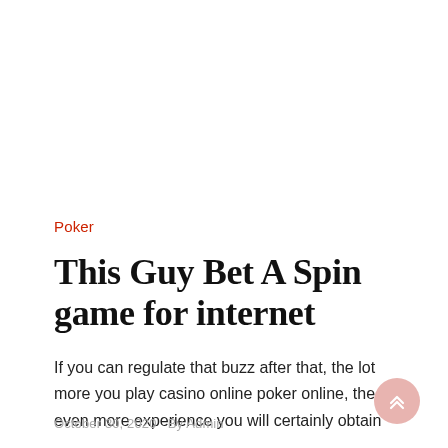Poker
This Guy Bet A Spin game for internet
If you can regulate that buzz after that, the lot more you play casino online poker online, the even more experience you will certainly obtain
October 30, 2020   By Admin